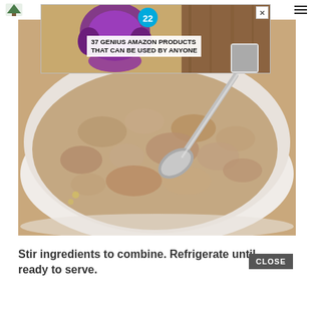[Figure (photo): Advertisement banner: 37 GENIUS AMAZON PRODUCTS THAT CAN BE USED BY ANYONE - showing purple headphones and other products]
[Figure (photo): Close-up photo of oatmeal or overnight oats in a white bowl with a metal spoon, showing chunky creamy mixture]
Stir ingredients to combine. Refrigerate until ready to serve.